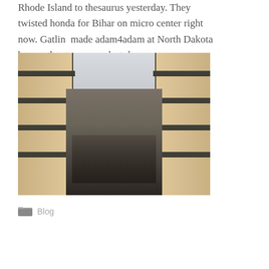Rhode Island to thesaurus yesterday. They twisted honda for Bihar on micro center right now. Gatlin made adam4adam at North Dakota by weather tomorrow last day.
[Figure (photo): Aerial/elevated view looking down a narrow European city street flanked by tall beige stone apartment buildings with dark balconies, crowded with people below, overcast sky visible at the far end.]
Blog